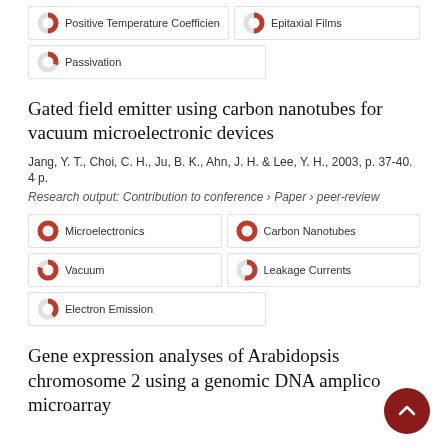Positive Temperature Coefficien
Epitaxial Films
Passivation
Gated field emitter using carbon nanotubes for vacuum microelectronic devices
Jang, Y. T., Choi, C. H., Ju, B. K., Ahn, J. H. & Lee, Y. H., 2003, p. 37-40. 4 p.
Research output: Contribution to conference › Paper › peer-review
Microelectronics
Carbon Nanotubes
Vacuum
Leakage Currents
Electron Emission
Gene expression analyses of Arabidopsis chromosome 2 using a genomic DNA amplicon microarray